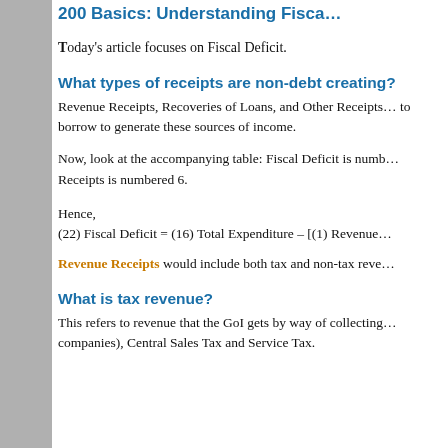200 Basics: Understanding Fisca…
Today's article focuses on Fiscal Deficit.
What types of receipts are non-debt creating?
Revenue Receipts, Recoveries of Loans, and Other Receipts… to borrow to generate these sources of income.
Now, look at the accompanying table: Fiscal Deficit is numb… Receipts is numbered 6.
Hence,
(22) Fiscal Deficit = (16) Total Expenditure – [(1) Revenue…
Revenue Receipts would include both tax and non-tax reve…
What is tax revenue?
This refers to revenue that the GoI gets by way of collecting… companies), Central Sales Tax and Service Tax.